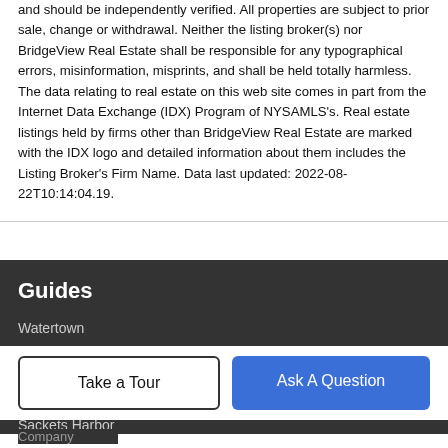and should be independently verified. All properties are subject to prior sale, change or withdrawal. Neither the listing broker(s) nor BridgeView Real Estate shall be responsible for any typographical errors, misinformation, misprints, and shall be held totally harmless. The data relating to real estate on this web site comes in part from the Internet Data Exchange (IDX) Program of NYSAMLS's. Real estate listings held by firms other than BridgeView Real Estate are marked with the IDX logo and detailed information about them includes the Listing Broker's Firm Name. Data last updated: 2022-08-22T10:14:04.19.
Guides
Watertown
Fort Drum
Carthage School District
Indian River School District
Sackets Harbor
Take a Tour
Ask A Question
Company